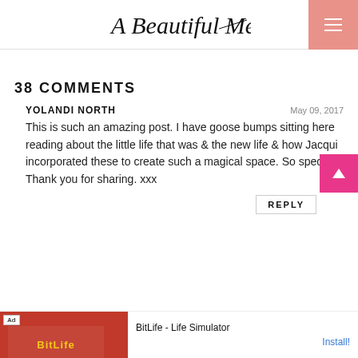A Beautiful Mess
38 COMMENTS
YOLANDI NORTH — May 09, 2017
This is such an amazing post. I have goose bumps sitting here reading about the little life that was & the new life & how Jacqui incorporated these to create such a magical space. So special. Thank you for sharing. xxx
REPLY
[Figure (screenshot): BitLife - Life Simulator advertisement banner with red background and game logo]